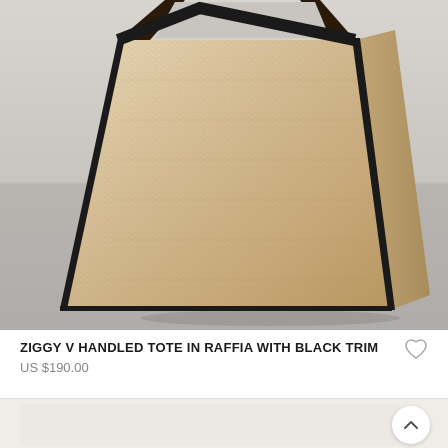[Figure (photo): A woven raffia tote bag with V-shaped handles and black trim edges, photographed against a light gray background. The bag has a trapezoidal shape when viewed from the side, showing the flat bottom and structured body.]
ZIGGY V HANDLED TOTE IN RAFFIA WITH BLACK TRIM
US $190.00